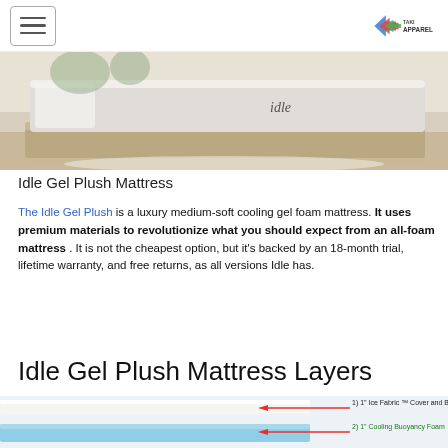[Figure (photo): Idle brand mattress displayed on a bed frame in a modern bedroom setting with wood flooring and natural light]
Idle Gel Plush Mattress
The Idle Gel Plush is a luxury medium-soft cooling gel foam mattress. It uses premium materials to revolutionize what you should expect from an all-foam mattress . It is not the cheapest option, but it’s backed by an 18-month trial, lifetime warranty, and free returns, as all versions Idle has.
Idle Gel Plush Mattress Layers
[Figure (illustration): Cross-section diagram of mattress layers showing 1) 1” Ice Fabric Cover and Bouyancy Foam and 2) 1” Cooling Buoyancy Foam]